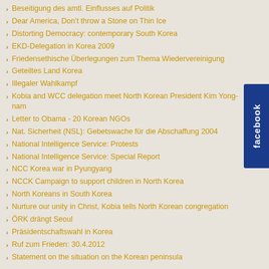Beseitigung des amtl. Einflusses auf Politik
Dear America, Don't throw a Stone on Thin Ice
Distorting Democracy: contemporary South Korea
EKD-Delegation in Korea 2009
Friedensethische Überlegungen zum Thema Wiedervereinigung
Geteiltes Land Korea
Illegaler Wahlkampf
Kobia and WCC delegation meet North Korean President Kim Yong-nam
Letter to Obama - 20 Korean NGOs
Nat. Sicherheit (NSL): Gebetswache für die Abschaffung 2004
National Intelligence Service: Protests
National Intelligence Service: Special Report
NCC Korea war in Pyungyang
NCCK Campaign to support children in North Korea
North Koreans in South Korea
Nurture our unity in Christ, Kobia tells North Korean congregation
ÖRK drängt Seoul
Präsidentschaftswahl in Korea
Ruf zum Frieden: 30.4.2012
Statement on the situation on the Korean peninsula